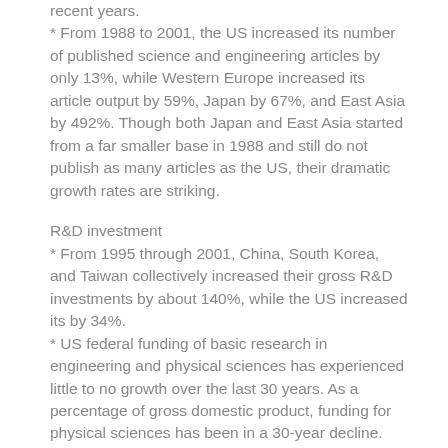recent years.
* From 1988 to 2001, the US increased its number of published science and engineering articles by only 13%, while Western Europe increased its article output by 59%, Japan by 67%, and East Asia by 492%. Though both Japan and East Asia started from a far smaller base in 1988 and still do not publish as many articles as the US, their dramatic growth rates are striking.
R&D investment
* From 1995 through 2001, China, South Korea, and Taiwan collectively increased their gross R&D investments by about 140%, while the US increased its by 34%.
* US federal funding of basic research in engineering and physical sciences has experienced little to no growth over the last 30 years. As a percentage of gross domestic product, funding for physical sciences has been in a 30-year decline.